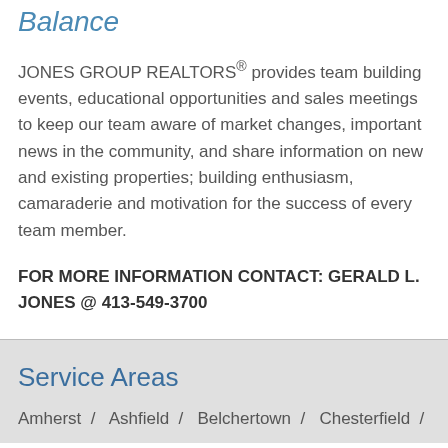Balance
JONES GROUP REALTORS® provides team building events, educational opportunities and sales meetings to keep our team aware of market changes, important news in the community, and share information on new and existing properties; building enthusiasm, camaraderie and motivation for the success of every team member.
FOR MORE INFORMATION CONTACT: GERALD L. JONES @ 413-549-3700
Service Areas
Amherst / Ashfield / Belchertown / Chesterfield /